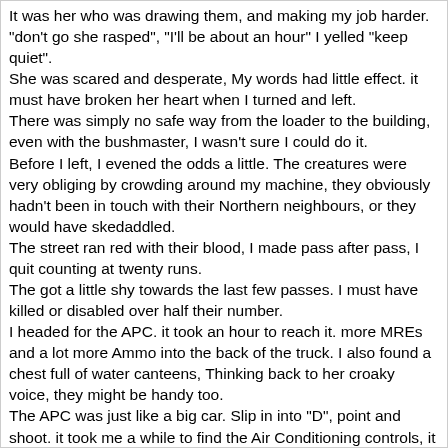It was her who was drawing them, and making my job harder.
"don't go she rasped", "I'll be about an hour" I yelled "keep quiet".
She was scared and desperate, My words had little effect. it must have broken her heart when I turned and left.
There was simply no safe way from the loader to the building, even with the bushmaster, I wasn't sure I could do it.
Before I left, I evened the odds a little. The creatures were very obliging by crowding around my machine, they obviously hadn't been in touch with their Northern neighbours, or they would have skedaddled.
The street ran red with their blood, I made pass after pass, I quit counting at twenty runs.
The got a little shy towards the last few passes. I must have killed or disabled over half their number.
I headed for the APC. it took an hour to reach it. more MREs and a lot more Ammo into the back of the truck. I also found a chest full of water canteens, Thinking back to her croaky voice, they might be handy too.
The APC was just like a big car. Slip in into "D", point and shoot. it took me a while to find the Air Conditioning controls, it wasnt icy cold, but it helped keep the cab comfortable.